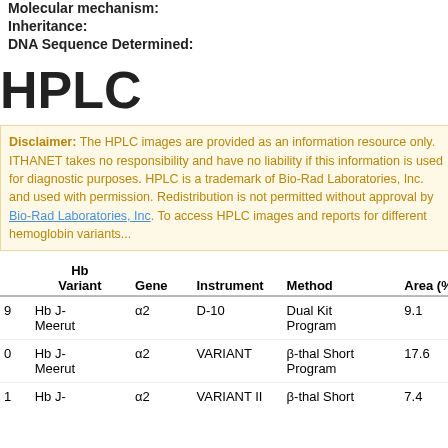Molecular mechanism:
Inheritance:
DNA Sequence Determined:
HPLC
Disclaimer: The HPLC images are provided as an information resource only. ITHANET takes no responsibility and have no liability if this information is used for diagnostic purposes. HPLC is a trademark of Bio-Rad Laboratories, Inc. and used with permission. Redistribution is not permitted without approval by Bio-Rad Laboratories, Inc. To access HPLC images and reports for different hemoglobin variants...
|  | Hb Variant | Gene | Instrument | Method | Area (%) |
| --- | --- | --- | --- | --- | --- |
| 9 | Hb J-Meerut | α2 | D-10 | Dual Kit Program | 9.1 |
| 0 | Hb J-Meerut | α2 | VARIANT | β-thal Short Program | 17.6 |
| 1 | Hb J- | α2 | VARIANT II | β-thal Short | 7.4 |